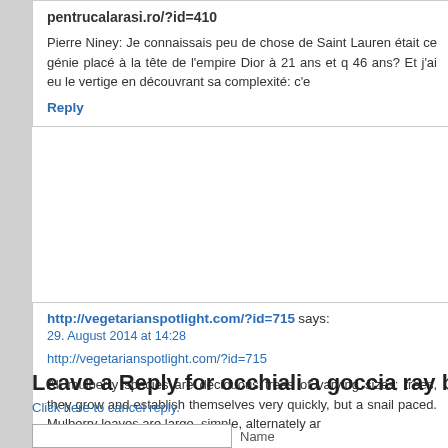pentrucalarasi.ro/?id=410
Pierre Niney: Je connaissais peu de chose de Saint Lauren était ce génie placé à la tête de l'empire Dior à 21 ans et q 46 ans? Et j'ai eu le vertige en découvrant sa complexité: c'e
Reply
http://vegetarianspotlight.com/?id=715 says:
29. August 2014 at 14:28
http://vegetarianspotlight.com/?id=715
All mulberry species are deciduous trees of varying sizes; trees, they grow and establish themselves very quickly, but a snail paced. Mulberry leaves are large, simple, alternately ar
Reply
Leave a Reply for occhiali a goccia ray b
Click here to cancel reply.
Name
Mail (will not be publish